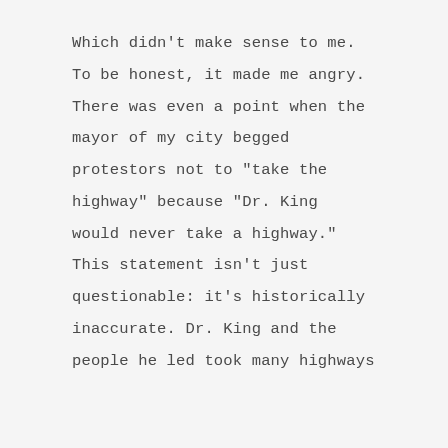Which didn't make sense to me. To be honest, it made me angry. There was even a point when the mayor of my city begged protestors not to "take the highway" because "Dr. King would never take a highway." This statement isn't just questionable: it's historically inaccurate. Dr. King and the people he led took many highways